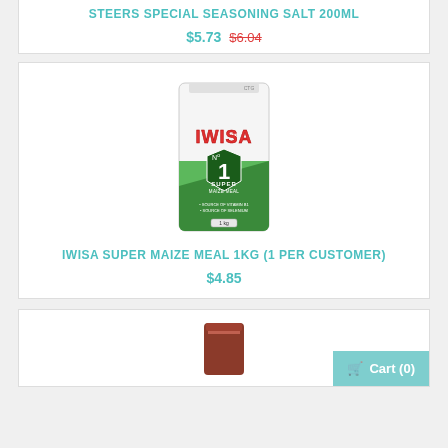STEERS SPECIAL SEASONING SALT 200ML
$5.73  $6.04
[Figure (photo): IWISA Super Maize Meal 1kg product package — white bag with green bottom half, IWISA logo in red, No.1 Super shield emblem in dark green and red]
IWISA SUPER MAIZE MEAL 1KG (1 PER CUSTOMER)
$4.85
[Figure (photo): Partial view of another product at the bottom of the page (brown container, partially visible)]
Cart (0)